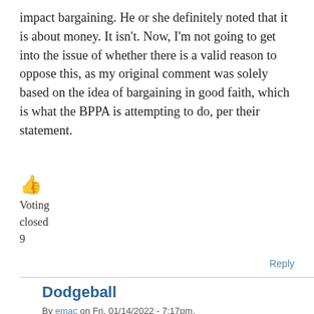impact bargaining. He or she definitely noted that it is about money. It isn't. Now, I'm not going to get into the issue of whether there is a valid reason to oppose this, as my original comment was solely based on the idea of bargaining in good faith, which is what the BPPA is attempting to do, per their statement.
👍
Voting
closed
9
Reply
Dodgeball
By emac on Fri, 01/14/2022 - 7:17pm.
Fine, you're right, there are two arguments here. There's one about work rules and